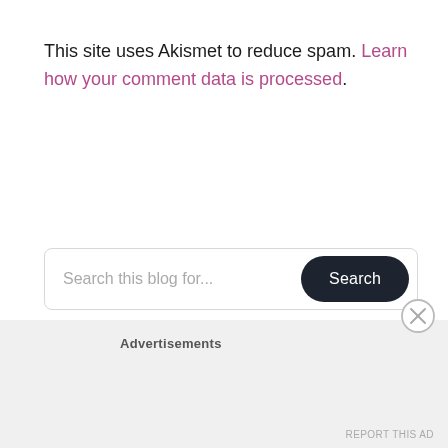This site uses Akismet to reduce spam. Learn how your comment data is processed.
[Figure (screenshot): Search bar with placeholder text 'Search this blog for...' and a dark rounded 'Search' button]
Advertisements
REPORT THIS AD